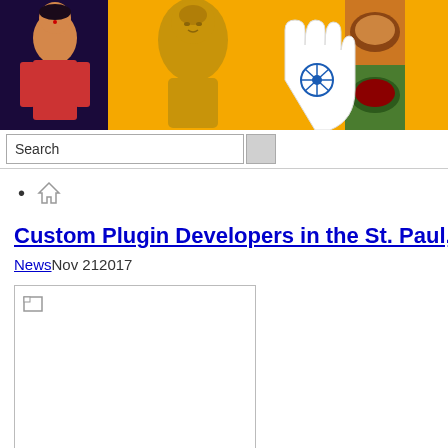[Figure (illustration): Website header banner with golden/yellow background showing Indian cultural images: a Hindu goddess figure, a golden Buddha statue, a hand (Hamsa) symbol with Dharma wheel, Indian food dishes, and Qutub Minar monument.]
Search
Home (icon)
Custom Plugin Developers in the St. Paul, M...
News Nov 21 2017
[Figure (photo): Broken/missing image placeholder with small broken image icon in top-left corner.]